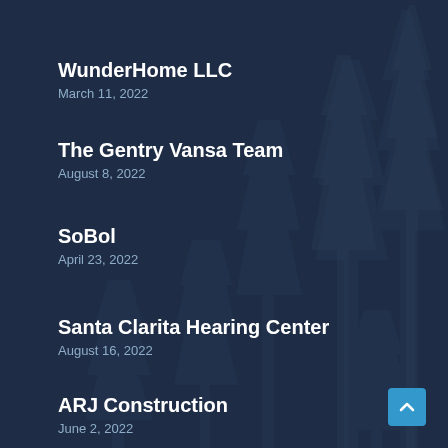WunderHome LLC
March 11, 2022
The Gentry Vansa Team
August 8, 2022
SoBol
April 23, 2022
Santa Clarita Hearing Center
August 16, 2022
ARJ Construction
June 2, 2022